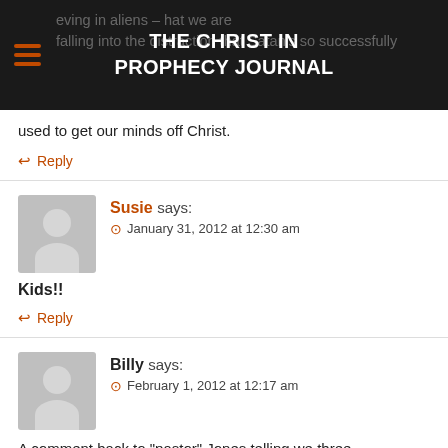THE CHRIST IN PROPHECY JOURNAL
…eving in aliens – …hat we are falling into the distraction that Satan's so successfully used to get our minds off Christ.
↩ Reply
Susie says:
January 31, 2012 at 12:30 am
Kids!!
↩ Reply
Billy says:
February 1, 2012 at 12:17 am
A comment back to "pastor" Jones telling we three (Sue/Susie/I) "go to church!".